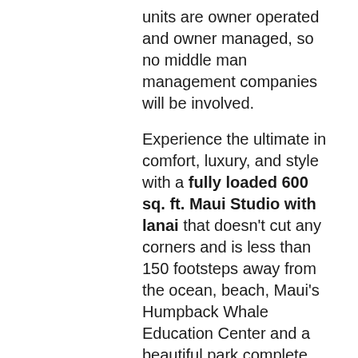units are owner operated and owner managed, so no middle man management companies will be involved.
Experience the ultimate in comfort, luxury, and style with a fully loaded 600 sq. ft. Maui Studio with lanai that doesn't cut any corners and is less than 150 footsteps away from the ocean, beach, Maui's Humpback Whale Education Center and a beautiful park complete with free parking and outdoor showers. Now that's what I call convenient!
In addition, it is fully stocked with everything you will need to completely enjoy your Maui vacation